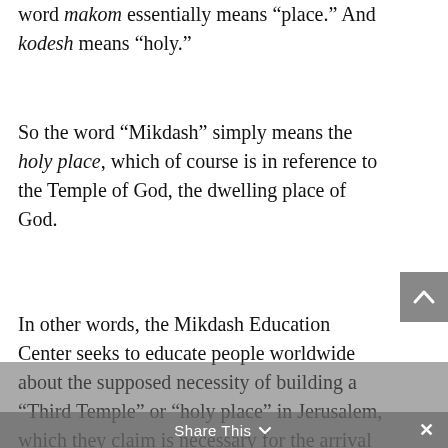word makom essentially means “place.” And kodesh means “holy.”
So the word “Mikdash” simply means the holy place, which of course is in reference to the Temple of God, the dwelling place of God.
In other words, the Mikdash Education Center seeks to educate people worldwide about the supposed necessity of building a “Third Temple” or “holy place” in Jerusalem, which they claim is necessary for the arrival of the “Messiah.”  Their website explains this clearly and explicitly.
Share This